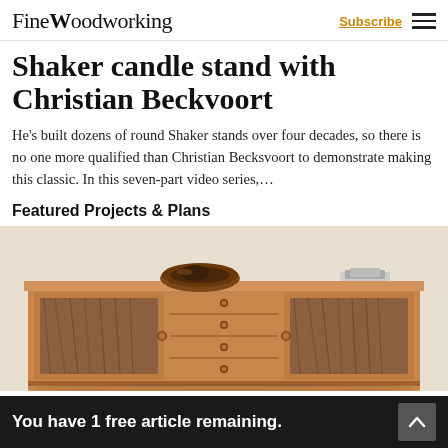FineWoodworking — Subscribe
Shaker candle stand with Christian Beckvoort
He's built dozens of round Shaker stands over four decades, so there is no one more qualified than Christian Becksvoort to demonstrate making this classic. In this seven-part video series,...
Featured Projects & Plans
[Figure (photo): Photograph of a wooden sideboard/credenza with sliding doors featuring decorative wood grain panels, four central drawers with small round knobs, and a wooden bowl on top.]
You have 1 free article remaining.